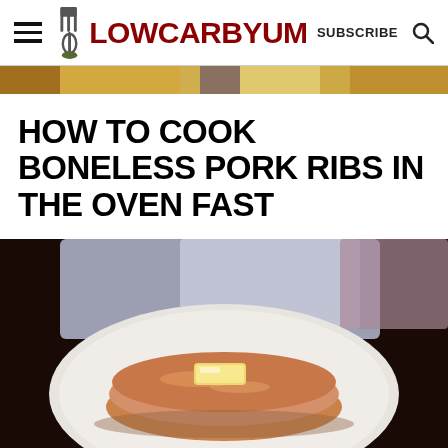LOW CARB YUM — SUBSCRIBE
[Figure (photo): Horizontal strip showing food images at top of page]
HOW TO COOK BONELESS PORK RIBS IN THE OVEN FAST
[Figure (photo): A plate with pancakes topped with a pat of butter, on a table with blurred background]